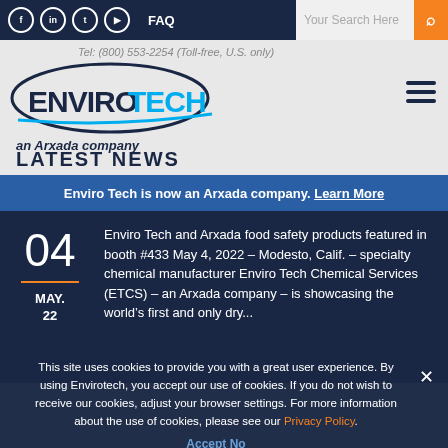FAQ | Your Search Here | Social icons: Facebook, LinkedIn, Twitter, YouTube
[Figure (logo): EnviroTech logo - oval shape with ENVIROTECH text, TECH in blue]
Tel: (800) 553-2254 (Toll-free, U.S. only)
an Arxada company
LATEST NEWS
Enviro Tech is now an Arxada company. Learn More
04 MAY. 22
Enviro Tech and Arxada food safety products featured in booth #433 May 4, 2022 – Modesto, Calif. – specialty chemical manufacturer Enviro Tech Chemical Services (ETCS) – an Arxada company – is showcasing the world's first and only dry...
This site uses cookies to provide you with a great user experience. By using Envirotech, you accept our use of cookies. If you do not wish to receive our cookies, adjust your browser settings. For more information about the use of cookies, please see our Privacy Policy.
Accept No